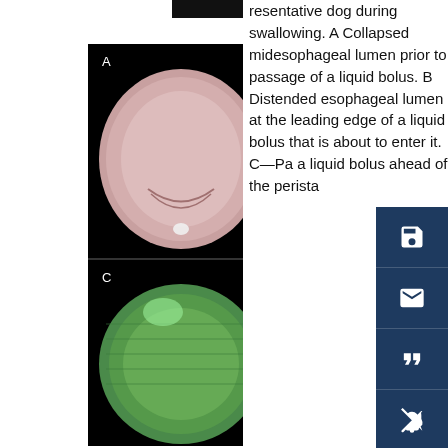[Figure (photo): Endoscopic images of dog esophagus during swallowing showing four panels (A, B, C, D): A - collapsed midesophageal lumen, B - distended esophageal lumen at leading edge of liquid bolus, C - passage of liquid bolus with green tint, D - peristaltic wave ahead of bolus.]
resentative dog during swallowing. A Collapsed midesophageal lumen prior to passage of a liquid bolus. B Distended esophageal lumen at the leading edge of a liquid bolus that is about to enter it. C—Passage of a liquid bolus ahead of the peristaltic